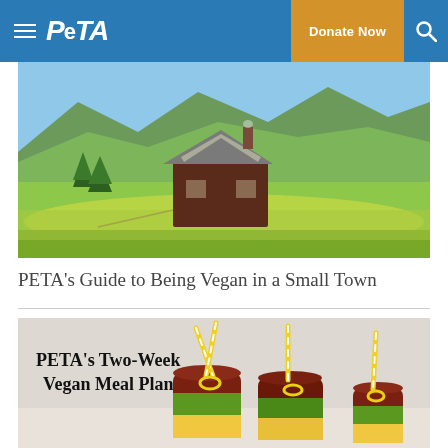PETA — Donate Now
[Figure (photo): Alpine meadow with a rustic wooden cabin on a hillside, green and yellow flower fields, evergreen trees, and mountains in the background]
PETA's Guide to Being Vegan in a Small Town
[Figure (photo): Layered vegan smoothie drinks in mason jars with yellow and white striped paper straws and lemon garnishes, overlaid with text 'PETA's Two-Week Vegan Meal Plan']